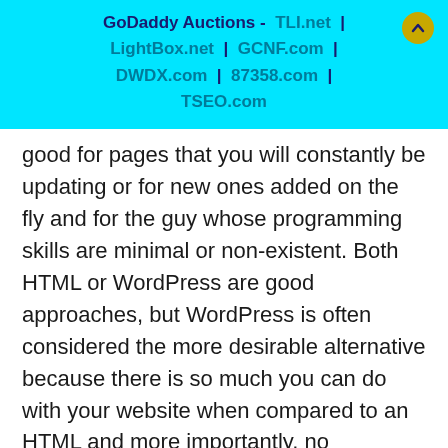GoDaddy Auctions - TLI.net | LightBox.net | GCNF.com | DWDX.com | 87358.com | TSEO.com
good for pages that you will constantly be updating or for new ones added on the fly and for the guy whose programming skills are minimal or non-existent. Both HTML or WordPress are good approaches, but WordPress is often considered the more desirable alternative because there is so much you can do with your website when compared to an HTML and more importantly, no programming skills required. However, just consider your needs and you should be able to